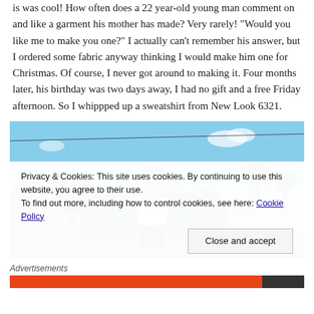is was cool! How often does a 22 year-old young man comment on and like a garment his mother has made? Very rarely! “Would you like me to make you one?” I actually can’t remember his answer, but I ordered some fabric anyway thinking I would make him one for Christmas. Of course, I never got around to making it. Four months later, his birthday was two days away, I had no gift and a free Friday afternoon. So I whippped up a sweatshirt from New Look 6321.
[Figure (photo): Young man wearing a teal and white raglan sweatshirt and blue baseball cap, standing outdoors in a backyard with green bushes, trees, a house, and blue sky in the background.]
Privacy & Cookies: This site uses cookies. By continuing to use this website, you agree to their use.
To find out more, including how to control cookies, see here: Cookie Policy
Close and accept
Advertisements